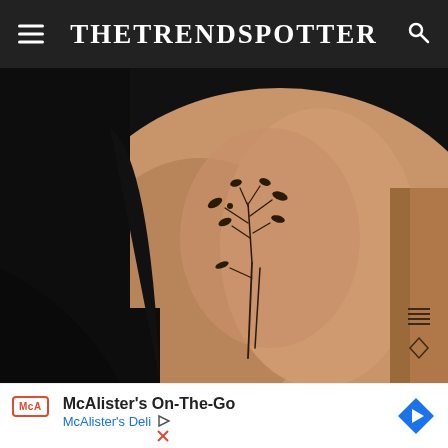The Trend Spotter
[Figure (photo): Close-up photo of a person's torso/ribcage with a delicate botanical/plant stem tattoo. The background is mostly black on the left. The tattoo features a thin stem with small leaves branching off. Another tattooed arm is partially visible on the right edge.]
McAlister's On-The-Go
McAlister's Deli